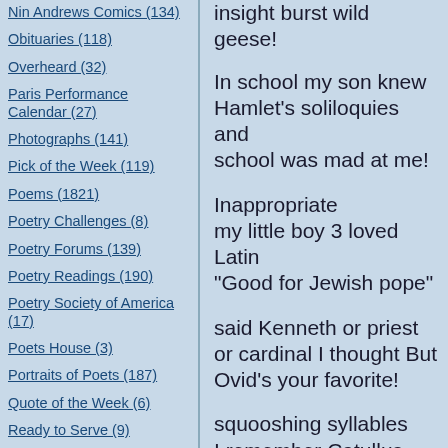Nin Andrews Comics (134)
Obituaries (118)
Overheard (32)
Paris Performance Calendar (27)
Photographs (141)
Pick of the Week (119)
Poems (1821)
Poetry Challenges (8)
Poetry Forums (139)
Poetry Readings (190)
Poetry Society of America (17)
Poets House (3)
Portraits of Poets (187)
Quote of the Week (6)
Ready to Serve (9)
Religion (93)
Science (27)
Scotland (13)
insight burst wild geese!
In school my son knew
Hamlet's soliloquies and
school was mad at me!
Inappropriate
my little boy 3 loved Latin
"Good for Jewish pope"
said Kenneth or priest
or cardinal I thought But
Ovid's your favorite!
squooshing syllables
I remember Catullus
hating to love love
I hated loving
I'm so glad to love less, less
then not at all, all
let haiku echo